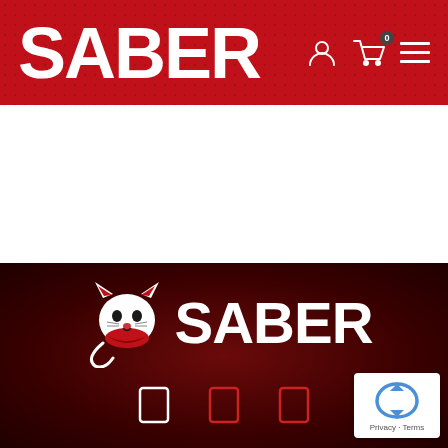[Figure (logo): SABER brand header with red textured background, large white SABER text, user icon, shopping cart with badge showing 0, and hamburger menu icon]
[Figure (logo): SABER logo on dark red background showing a tiger/lion head mascot alongside SABER text in white bold letters]
[Figure (other): Three social media icon outlines (rectangle shapes) in bottom section of dark red footer]
[Figure (other): Google reCAPTCHA badge in bottom right corner showing reCAPTCHA logo and Privacy-Terms text]